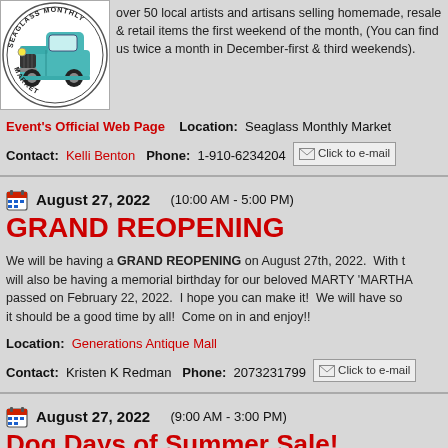[Figure (logo): Seaglass Monthly Market logo with a teal vintage pickup truck inside a circular badge]
over 50 local artists and artisans selling homemade, resale & retail items the first weekend of the month, (You can find us twice a month in December-first & third weekends).
Event's Official Web Page   Location: Seaglass Monthly Market
Contact: Kelli Benton   Phone: 1-910-6234204   Click to e-mail
August 27, 2022  (10:00 AM - 5:00 PM)
GRAND REOPENING
We will be having a GRAND REOPENING on August 27th, 2022. With t... will also be having a memorial birthday for our beloved MARTY 'MARTHA... passed on February 22, 2022. I hope you can make it! We will have so... it should be a good time by all! Come on in and enjoy!!
Location: Generations Antique Mall
Contact: Kristen K Redman   Phone: 2073231799   Click to e-mail
August 27, 2022  (9:00 AM - 3:00 PM)
Dog Days of Summer Sale!